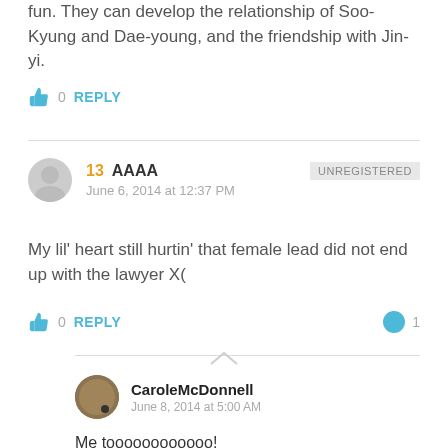fun. They can develop the relationship of Soo-Kyung and Dae-young, and the friendship with Jin-yi.
👍 0  REPLY
13  AAAA  UNREGISTERED
June 6, 2014 at 12:37 PM
My lil' heart still hurtin' that female lead did not end up with the lawyer X(
👍 0  REPLY  💬 1
CaroleMcDonnell
June 8, 2014 at 5:00 AM
Me toooooooooooo!